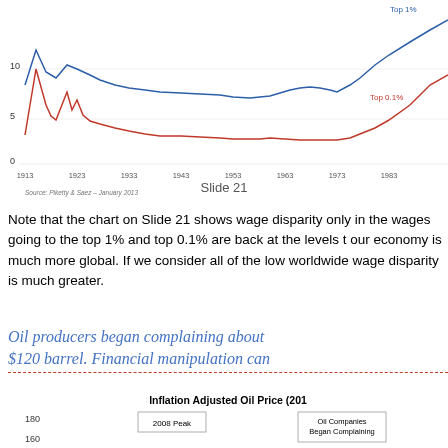[Figure (line-chart): Partial line chart showing two lines (Top 1% in blue, Top 0.1% in red) from approximately 1913 to 1983+. Y-axis shows values 0, 5, 10. Source: Piketty & Saez - January 2013]
Slide 21
Note that the chart on Slide 21 shows wage disparity only in the wages going to the top 1% and top 0.1% are back at the levels t our economy is much more global. If we consider all of the low worldwide wage disparity is much greater.
Oil producers began complaining about $120 barrel. Financial manipulation can
[Figure (bar-chart): Partial chart showing inflation adjusted oil price with 2008 Peak annotation and Oil Companies Began Complaining label. Y-axis shows 160 and 180.]